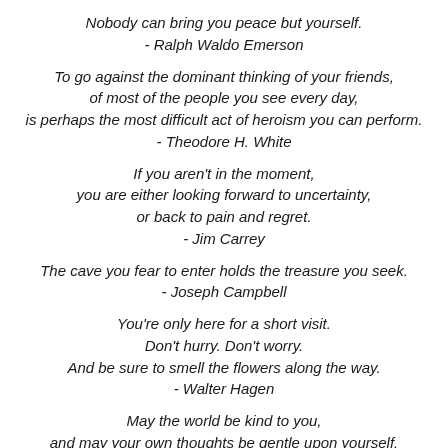Nobody can bring you peace but yourself.
- Ralph Waldo Emerson
To go against the dominant thinking of your friends,
of most of the people you see every day,
is perhaps the most difficult act of heroism you can perform.
- Theodore H. White
If you aren't in the moment,
you are either looking forward to uncertainty,
or back to pain and regret.
- Jim Carrey
The cave you fear to enter holds the treasure you seek.
- Joseph Campbell
You're only here for a short visit.
Don't hurry. Don't worry.
And be sure to smell the flowers along the way.
- Walter Hagen
May the world be kind to you,
and may your own thoughts be gentle upon yourself.
- Jonathan Lockwood Huie
Choose the World You See,